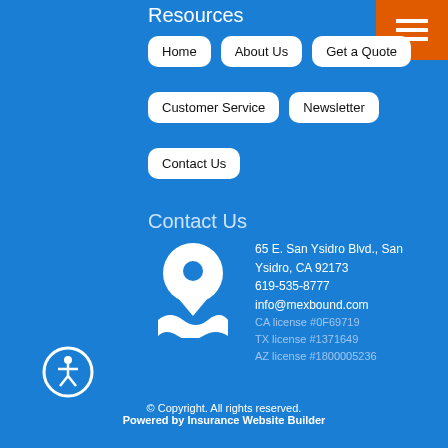Resources
Home
About Us
Get a Quote
Customer Service
Newsletter
Contact Us
Contact Us
[Figure (illustration): White map pin / location marker icon on blue background]
65 E. San Ysidro Blvd., San Ysidro, CA 92173
619-535-8777
info@mexbound.com
CA license #0F69719
TX license #1371649
AZ license #1800005236
[Figure (illustration): Accessibility icon: white person figure in circle with ring, indicating accessibility features]
© Copyright. All rights reserved.
Powered by Insurance Website Builder